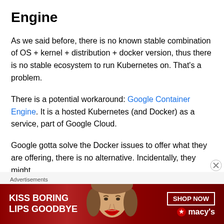Engine
As we said before, there is no known stable combination of OS + kernel + distribution + docker version, thus there is no stable ecosystem to run Kubernetes on. That's a problem.
There is a potential workaround: Google Container Engine. It is a hosted Kubernetes (and Docker) as a service, part of Google Cloud.
Google gotta solve the Docker issues to offer what they are offering, there is no alternative. Incidentally, they might
Advertisements
[Figure (photo): Advertisement banner for Macy's: 'KISS BORING LIPS GOODBYE' with SHOP NOW button and Macy's star logo]